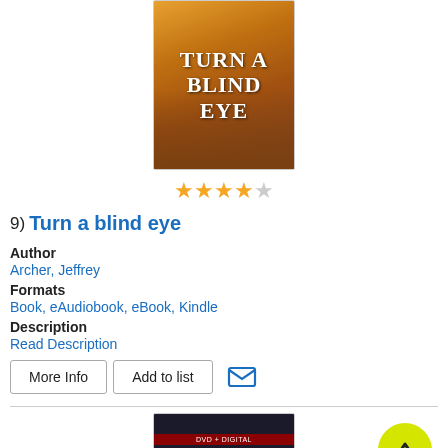[Figure (photo): Book cover for 'Turn a blind eye' with orange/amber city background and dome building]
[Figure (other): 4 out of 5 star rating displayed as yellow stars]
9)  Turn a blind eye
Author
Archer, Jeffrey
Formats
Book, eAudiobook, eBook, Kindle
Description
Read Description
[Figure (photo): DVD cover for Three Billboards Outside with dark background and red bar at top]
[Figure (other): Yellow circular back-to-top arrow button]